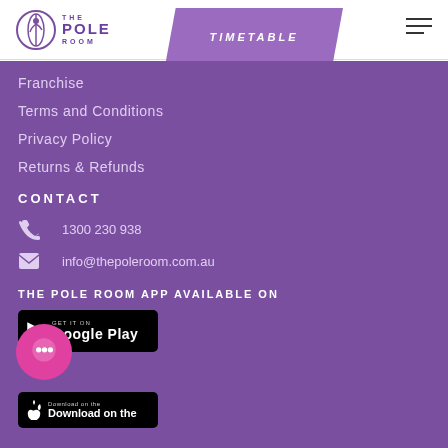[Figure (logo): The Pole Room logo with circular icon and text]
TIMETABLE
Franchise
Terms and Conditions
Privacy Policy
Returns & Refunds
CONTACT
1300 230 938
info@thepoleroom.com.au
THE POLE ROOM APP AVAILABLE ON
[Figure (screenshot): Google Play store badge]
[Figure (screenshot): Apple App Store badge (partially visible)]